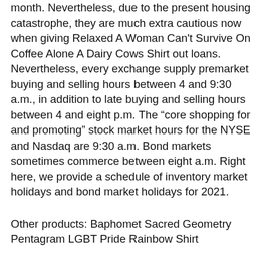month. Nevertheless, due to the present housing catastrophe, they are much extra cautious now when giving Relaxed A Woman Can't Survive On Coffee Alone A Dairy Cows Shirt out loans. Nevertheless, every exchange supply premarket buying and selling hours between 4 and 9:30 a.m., in addition to late buying and selling hours between 4 and eight p.m. The “core shopping for and promoting” stock market hours for the NYSE and Nasdaq are 9:30 a.m. Bond markets sometimes commerce between eight a.m. Right here, we provide a schedule of inventory market holidays and bond market holidays for 2021.
Other products: Baphomet Sacred Geometry Pentagram LGBT Pride Rainbow Shirt